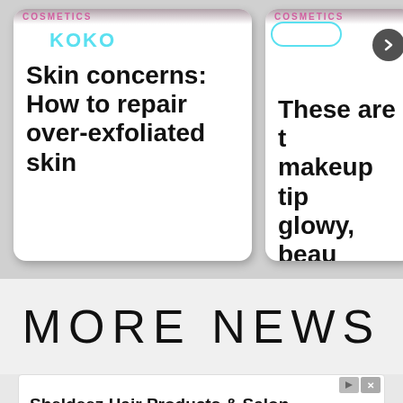[Figure (screenshot): Koko cosmetics app card showing article: Skin concerns: How to repair over-exfoliated skin]
Skin concerns: How to repair over-exfoliated skin
[Figure (screenshot): Koko cosmetics app card (partially visible) showing article: These are the makeup tips for glowy, beautiful skin, with Follow button]
MORE NEWS
[Figure (screenshot): Advertisement for Sheldeez Hair Products & Salon with OPEN button]
Sheldeez Hair Products & Salon
In-House Salon Services Along with Worldwide Salon Product Shipping.
sheldeez.com
OPEN